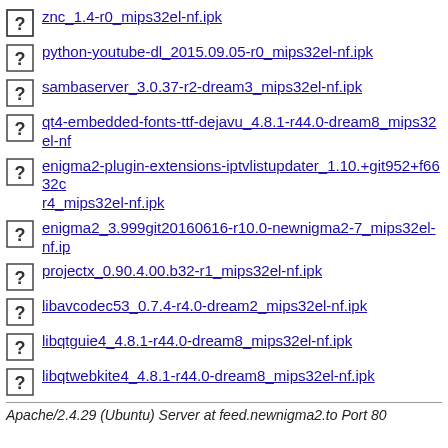znc_1.4-r0_mips32el-nf.ipk
python-youtube-dl_2015.09.05-r0_mips32el-nf.ipk
sambaserver_3.0.37-r2-dream3_mips32el-nf.ipk
qt4-embedded-fonts-ttf-dejavu_4.8.1-r44.0-dream8_mips32el-nf...
enigma2-plugin-extensions-iptvlistupdater_1.10.+git952+f6632c...r4_mips32el-nf.ipk
enigma2_3.999git20160616-r10.0-newnigma2-7_mips32el-nf.ip...
projectx_0.90.4.00.b32-r1_mips32el-nf.ipk
libavcodec53_0.7.4-r4.0-dream2_mips32el-nf.ipk
libqtguie4_4.8.1-r44.0-dream8_mips32el-nf.ipk
libqtwebkite4_4.8.1-r44.0-dream8_mips32el-nf.ipk
Apache/2.4.29 (Ubuntu) Server at feed.newnigma2.to Port 80